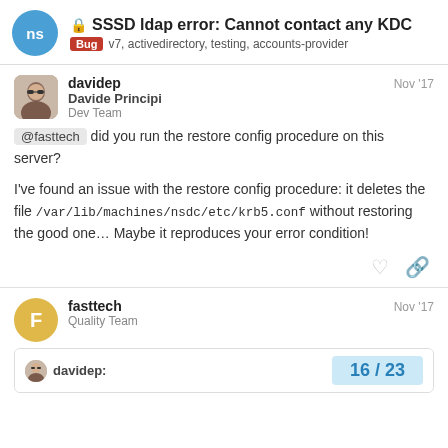SSSD ldap error: Cannot contact any KDC | Bug v7, activedirectory, testing, accounts-provider
davidep  Davide Principi  Dev Team  Nov '17
@fasttech did you run the restore config procedure on this server?

I've found an issue with the restore config procedure: it deletes the file /var/lib/machines/nsdc/etc/krb5.conf without restoring the good one... Maybe it reproduces your error condition!
fasttech  Quality Team  Nov '17
davidep:  16 / 23